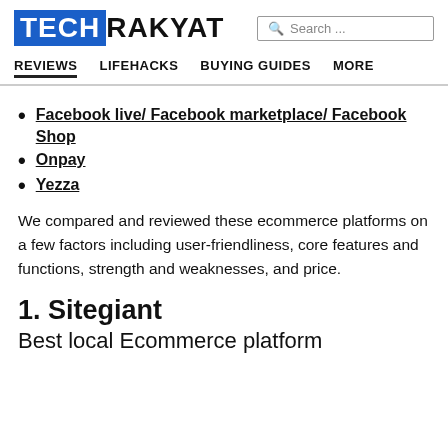TECH RAKYAT | REVIEWS | LIFEHACKS | BUYING GUIDES | MORE
Facebook live/ Facebook marketplace/ Facebook Shop
Onpay
Yezza
We compared and reviewed these ecommerce platforms on a few factors including user-friendliness, core features and functions, strength and weaknesses, and price.
1. Sitegiant
Best local Ecommerce platform